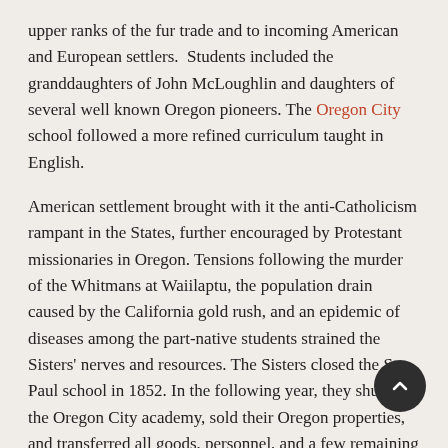upper ranks of the fur trade and to incoming American and European settlers.  Students included the granddaughters of John McLoughlin and daughters of several well known Oregon pioneers. The Oregon City school followed a more refined curriculum taught in English.
American settlement brought with it the anti-Catholicism rampant in the States, further encouraged by Protestant missionaries in Oregon. Tensions following the murder of the Whitmans at Waiilaptu, the population drain caused by the California gold rush, and an epidemic of diseases among the part-native students strained the Sisters' nerves and resources. The Sisters closed the St. Paul school in 1852. In the following year, they shuttered the Oregon City academy, sold their Oregon properties, and transferred all goods, personnel, and a few remaining students, to San José, California. Their Willamette Valley religious associates, the Jesuits, had already relocated to neighboring Santa Clara.  To this day, the Sisters of Notre Dame de Namur maintain an active educational mission in